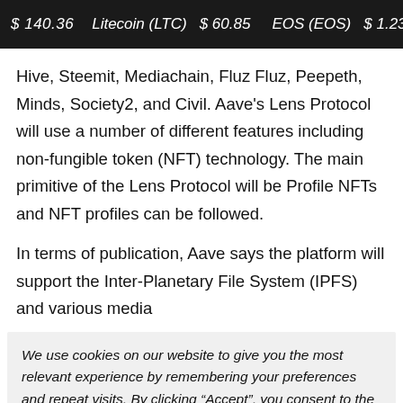$ 140.36  Litecoin (LTC)  $ 60.85  EOS (EOS)  $ 1.23
Hive, Steemit, Mediachain, Fluz Fluz, Peepeth, Minds, Society2, and Civil. Aave's Lens Protocol will use a number of different features including non-fungible token (NFT) technology. The main primitive of the Lens Protocol will be Profile NFTs and NFT profiles can be followed.
In terms of publication, Aave says the platform will support the Inter-Planetary File System (IPFS) and various media
We use cookies on our website to give you the most relevant experience by remembering your preferences and repeat visits. By clicking “Accept”, you consent to the use of ALL the cookies.
Do not sell my personal information.
Cookie settings  ACCEPT